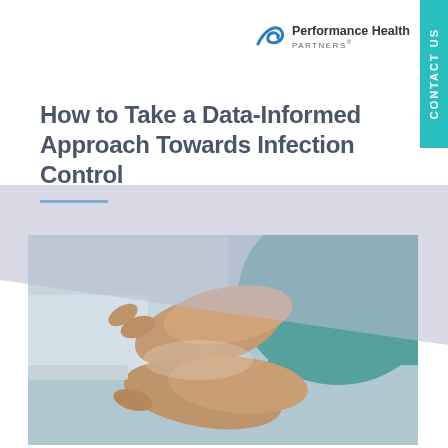[Figure (logo): Performance Health Partners logo with blue arrow/checkmark icon and company name]
How to Take a Data-Informed Approach Towards Infection Control
[Figure (photo): Healthcare professional in teal scrubs washing/sanitizing hands at a sink, close-up view showing hands being rubbed together]